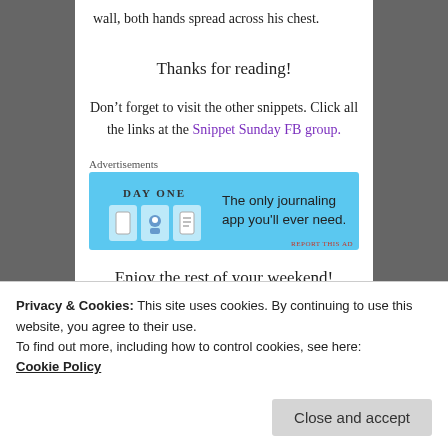wall, both hands spread across his chest.
Thanks for reading!
Don’t forget to visit the other snippets. Click all the links at the Snippet Sunday FB group.
Advertisements
[Figure (other): DAY ONE app advertisement banner: The only journaling app you'll ever need.]
Enjoy the rest of your weekend!
Privacy & Cookies: This site uses cookies. By continuing to use this website, you agree to their use.
To find out more, including how to control cookies, see here: Cookie Policy
Close and accept